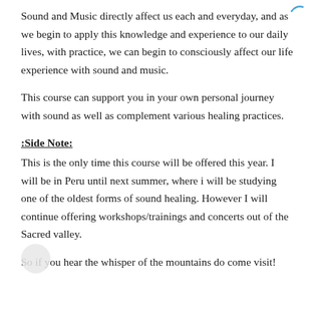Sound and Music directly affect us each and everyday, and as we begin to apply this knowledge and experience to our daily lives, with practice, we can begin to consciously affect our life experience with sound and music.
This course can support you in your own personal journey with sound as well as complement various healing practices.
:Side Note:
This is the only time this course will be offered this year. I will be in Peru until next summer, where i will be studying one of the oldest forms of sound healing. However I will continue offering workshops/trainings and concerts out of the Sacred valley.
So if you hear the whisper of the mountains do come visit!